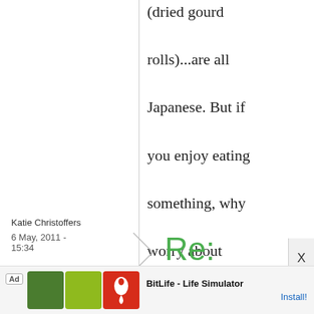(dried gourd rolls)...are all Japanese. But if you enjoy eating something, why worry about whether it's 'Japanese' or not? ^_^
Katie Christoffers
6 May, 2011 - 15:34
Re:
[Figure (screenshot): Ad banner for BitLife - Life Simulator app with green and red imagery and Install button]